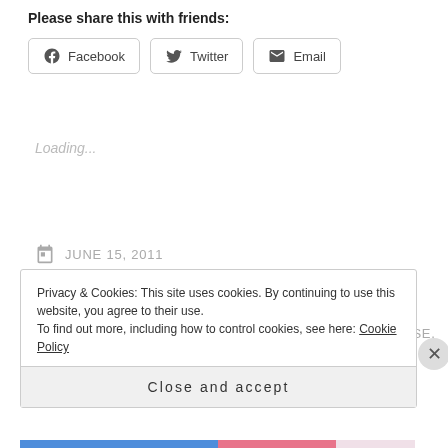Please share this with friends:
[Figure (screenshot): Social share buttons: Facebook, Twitter, Email]
Loading...
JUNE 15, 2011
LON DEAN
CHANGE, DESTINY, DISCIPLESHIP, EVANGELISM, FAITH, FORGIVENESS, HEAVEN, MURDER, PURPOSE,
Privacy & Cookies: This site uses cookies. By continuing to use this website, you agree to their use. To find out more, including how to control cookies, see here: Cookie Policy
Close and accept